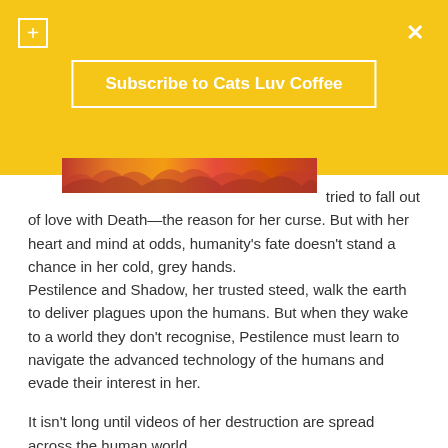Subscribe to Cats Luv Coffee
[Figure (photo): Fire/flames image strip at the top of the content area]
tried to fall out of love with Death—the reason for her curse. But with her heart and mind at odds, humanity's fate doesn't stand a chance in her cold, grey hands. Pestilence and Shadow, her trusted steed, walk the earth to deliver plagues upon the humans. But when they wake to a world they don't recognise, Pestilence must learn to navigate the advanced technology of the humans and evade their interest in her.

It isn't long until videos of her destruction are spread across the human world.
Soon, Pestilence finds herself with more than just her